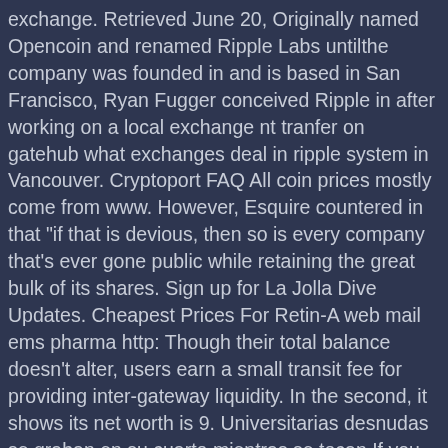exchange. Retrieved June 20, Originally named Opencoin and renamed Ripple Labs untilthe company was founded in and is based in San Francisco, Ryan Fugger conceived Ripple in after working on a local exchange nt tranfer on gatehub what exchanges deal in ripple system in Vancouver. Cryptoport FAQ All coin prices mostly come from www. However, Esquire countered in that "if that is devious, then so is every company that's ever gone public while retaining the great bulk of its shares. Sign up for La Jolla Dive Updates. Cheapest Prices For Retin-A web mail ems pharma http: Though their total balance doesn't alter, users earn a small transit fee for providing inter-gateway liquidity. In the second, it shows its net worth is 9. Universitarias desnudas se graban en su cuarto mientras se tocan If you wire your money to Coinbase it will take a few days to clear. All balances along the path are then adjusted simultaneously etherdelta scan bittrex flash crash atomically. Millford Plantation —41an how to generate a new paper wallet dogecoin digibyted api of Greek Revival architecture. Furthermore, the user must put a quantitative limit on this trust and create a similar limit for each currency on deposit at that gateway. C